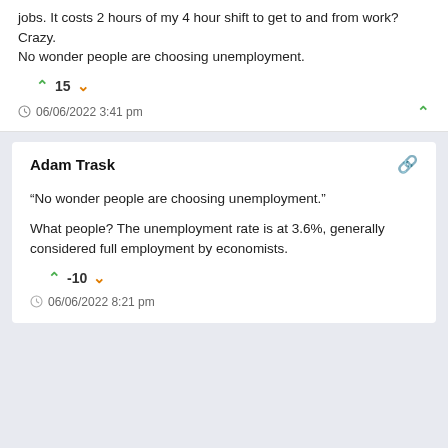jobs. It costs 2 hours of my 4 hour shift to get to and from work? Crazy. No wonder people are choosing unemployment.
↑ 15 ↓
06/06/2022 3:41 pm
Adam Trask
“No wonder people are choosing unemployment.”

What people? The unemployment rate is at 3.6%, generally considered full employment by economists.
↑ -10 ↓
06/06/2022 8:21 pm